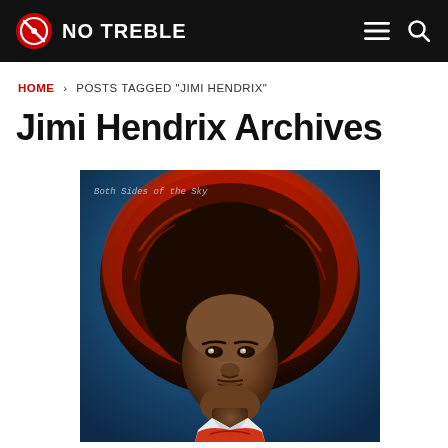NO TREBLE
HOME › POSTS TAGGED "JIMI HENDRIX"
Jimi Hendrix Archives
[Figure (photo): Album cover art for Both Sides of the Sky — portrait of Jimi Hendrix with large red-highlighted afro against a dark blue background, wearing a red scarf and white shirt, handwritten text reads 'Both Sides of the Sky' in upper left corner]